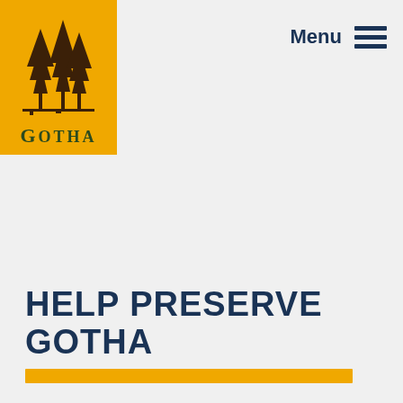[Figure (logo): Gotha logo: golden square background with dark brown pine trees illustration and 'GOTHA' text in dark green serif font below the trees]
Menu ☰
HELP PRESERVE GOTHA